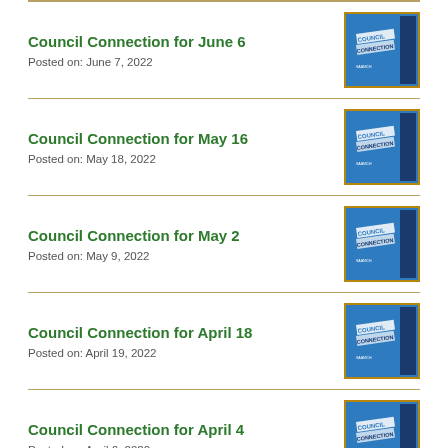Council Connection for June 6
Posted on: June 7, 2022
Council Connection for May 16
Posted on: May 18, 2022
Council Connection for May 2
Posted on: May 9, 2022
Council Connection for April 18
Posted on: April 19, 2022
Council Connection for April 4
Posted on: April 6, 2022